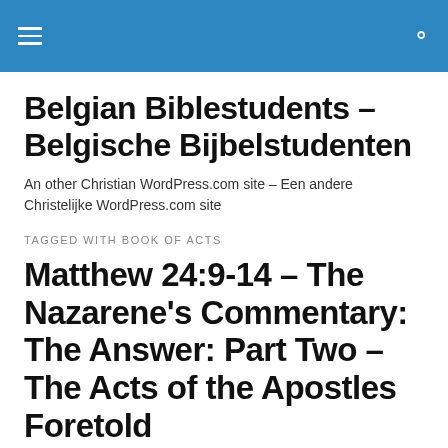Belgian Biblestudents – Belgische Bijbelstudenten
Belgian Biblestudents – Belgische Bijbelstudenten
An other Christian WordPress.com site – Een andere Christelijke WordPress.com site
TAGGED WITH BOOK OF ACTS
Matthew 24:9-14 – The Nazarene's Commentary: The Answer: Part Two – The Acts of the Apostles Foretold